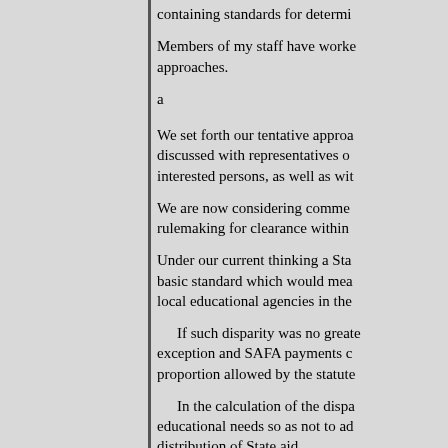containing standards for determi
Members of my staff have worked approaches.
a
We set forth our tentative approa discussed with representatives o interested persons, as well as wit
We are now considering comme rulemaking for clearance within
Under our current thinking a Sta basic standard which would mea local educational agencies in the
If such disparity was no greate exception and SAFA payments c proportion allowed by the statute
In the calculation of the dispa educational needs so as not to ad distribution of State aid.
I might just say parenthetically vocational students, and so on.